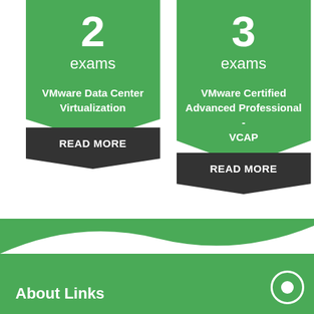[Figure (infographic): Green pentagon badge with number 2, 'exams', and 'VMware Data Center Virtualization' text, with dark arrow 'READ MORE' button below]
[Figure (infographic): Green pentagon badge with number 3, 'exams', and 'VMware Certified Advanced Professional - VCAP' text, with dark arrow 'READ MORE' button below]
About Links